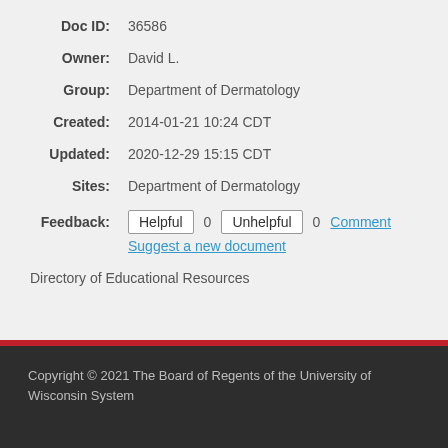Doc ID: 36586
Owner: David L.
Group: Department of Dermatology
Created: 2014-01-21 10:24 CDT
Updated: 2020-12-29 15:15 CDT
Sites: Department of Dermatology
Feedback: Helpful 0 Unhelpful 0 Comment Suggest a new document
Directory of Educational Resources
Copyright © 2021 The Board of Regents of the University of Wisconsin System